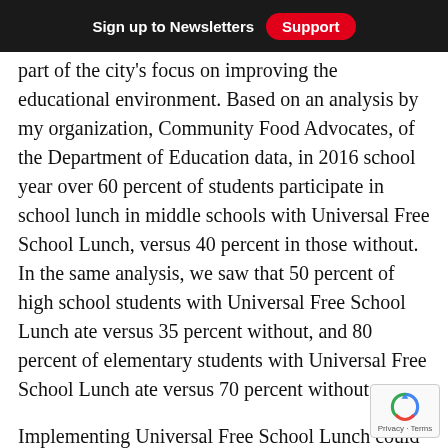Sign up to Newsletters   Support
part of the city's focus on improving the educational environment. Based on an analysis by my organization, Community Food Advocates, of the Department of Education data, in 2016 school year over 60 percent of students participate in school lunch in middle schools with Universal Free School Lunch, versus 40 percent in those without. In the same analysis, we saw that 50 percent of high school students with Universal Free School Lunch ate versus 35 percent without, and 80 percent of elementary students with Universal Free School Lunch ate versus 70 percent without.
Implementing Universal Free School Lunch could be a transformative moment in the mayor's efforts towards ending economic inequality. By increasing the NYC Department of Education School Lunch Program to approximately $20 million, $11.25 million of which